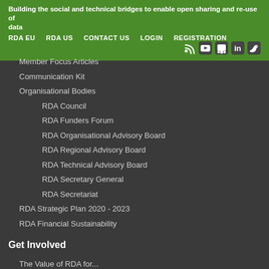Building the social and technical bridges to enable open sharing and re-use of data
RDA EU
RDA US
CONTACT US
LOGIN
REGISTRATION
Member Focus Articles
Communication Kit
Organisational Bodies
RDA Council
RDA Funders Forum
RDA Organisational Advisory Board
RDA Regional Advisory Board
RDA Technical Advisory Board
RDA Secretary General
RDA Secretariat
RDA Strategic Plan 2020 - 2023
RDA Financial Sustainability
Get Involved
The Value of RDA for...
COVID-19
Funders
Individuals
Infrastructure Providers
Libraries
Organisations performing Research